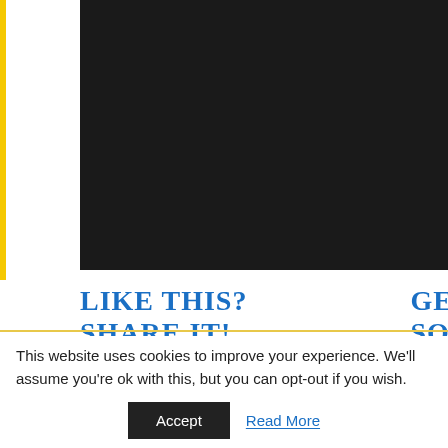[Figure (screenshot): Dark/black rectangular panel representing a video or media embed area on a webpage]
LIKE THIS? SHARE IT!
GET SOCI...
This website uses cookies to improve your experience. We'll assume you're ok with this, but you can opt-out if you wish.
Accept
Read More